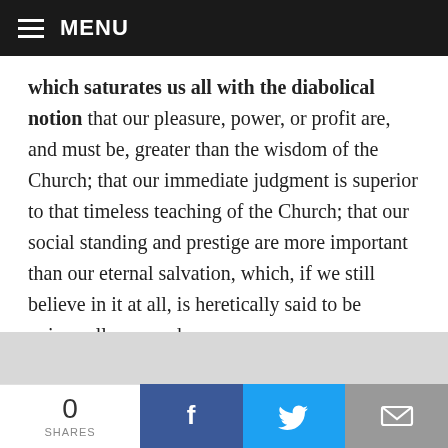MENU
which saturates us all with the diabolical notion that our pleasure, power, or profit are, and must be, greater than the wisdom of the Church; that our immediate judgment is superior to that timeless teaching of the Church; that our social standing and prestige are more important than our eternal salvation, which, if we still believe in it at all, is heretically said to be universally assured.

The classic definition of sin is aversio a Deo, conversio ad creaturam (aversion to God and conversion to the creature; cf. Romans 1:25). Such is the hallmark of our time and
0 SHARES